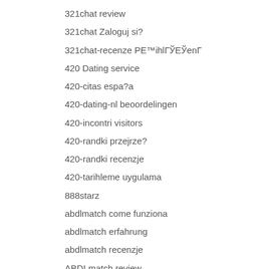321chat review
321chat Zaloguj si?
321chat-recenze PE™ihlГЎЕЎenГ
420 Dating service
420-citas espa?a
420-dating-nl beoordelingen
420-incontri visitors
420-randki przejrze?
420-randki recenzje
420-tarihleme uygulama
888starz
abdlmatch come funziona
abdlmatch erfahrung
abdlmatch recenzje
ABDLmatch review